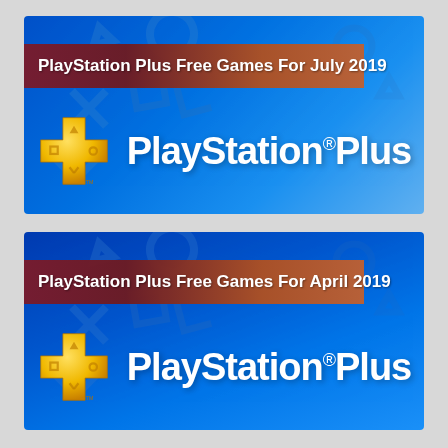[Figure (screenshot): PlayStation Plus Free Games For July 2019 banner with blue gradient background, PS symbols, golden PS Plus cross icon, and 'PlayStation®Plus' logo in white text on blue background with gradient title bar in dark red to brown]
[Figure (screenshot): PlayStation Plus Free Games For April 2019 banner with blue gradient background, PS symbols, golden PS Plus cross icon, and 'PlayStation®Plus' logo in white text on blue background with gradient title bar in dark red to brown]